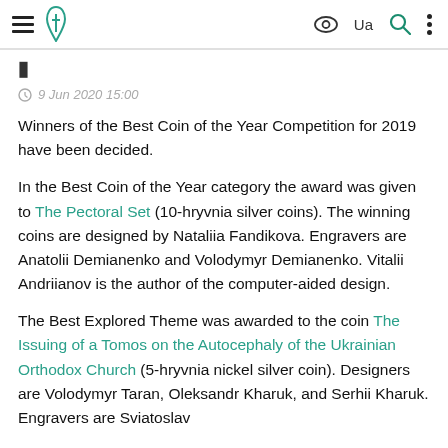Navigation bar with hamburger menu, logo, eye icon, Ua, search, and more options
9 Jun 2020 15:00
Winners of the Best Coin of the Year Competition for 2019 have been decided.
In the Best Coin of the Year category the award was given to The Pectoral Set (10-hryvnia silver coins). The winning coins are designed by Nataliia Fandikova. Engravers are Anatolii Demianenko and Volodymyr Demianenko. Vitalii Andriianov is the author of the computer-aided design.
The Best Explored Theme was awarded to the coin The Issuing of a Tomos on the Autocephaly of the Ukrainian Orthodox Church (5-hryvnia nickel silver coin). Designers are Volodymyr Taran, Oleksandr Kharuk, and Serhii Kharuk. Engravers are Sviatoslav